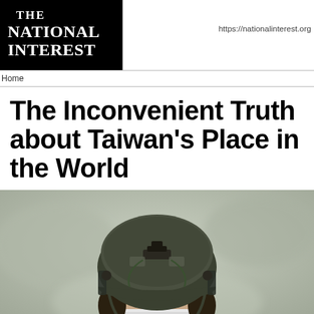THE NATIONAL INTEREST | https://nationalinterest.org
Home
The Inconvenient Truth about Taiwan's Place in the World
[Figure (photo): Close-up photograph of a soldier wearing a dark green military helmet and face mask, eyes visible, looking forward. The background is blurred and light-colored.]